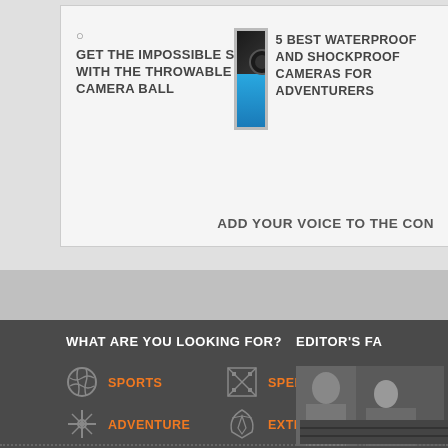GET THE IMPOSSIBLE SHOT WITH THE THROWABLE CAMERA BALL
5 BEST WATERPROOF AND SHOCKPROOF CAMERAS FOR ADVENTURERS
ADD YOUR VOICE TO THE CON
WHAT ARE YOU LOOKING FOR?
EDITOR'S FA
SPORTS
SPEED
ADVENTURE
EXTREME
GEAR & GADGETS
[Figure (photo): Photo of person in outdoor/adventure gear]
[Figure (photo): Partial view of device/equipment at bottom right]